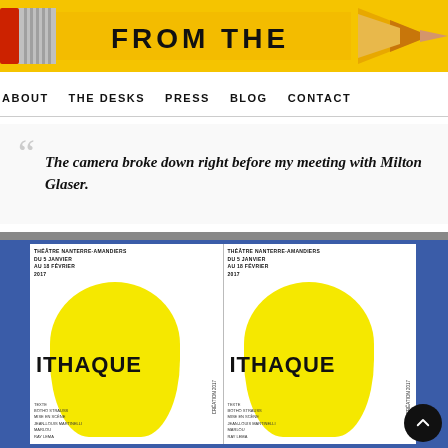[Figure (photo): Yellow pencil with red eraser on left side, spanning the top header banner. Text 'FROM THE' in bold black uppercase letters on the right side of the banner.]
ABOUT  THE DESKS  PRESS  BLOG  CONTACT
The camera broke down right before my meeting with Milton Glaser.
[Figure (photo): Photograph of two identical yellow 'ITHAQUE' theatre posters displayed side by side on a blue background. Each poster shows a yellow face shape with text 'THEATRE NANTERRE-AMANDIERS' at top and 'ITHAQUE' in large letters. Vertical text on right side of each poster.]